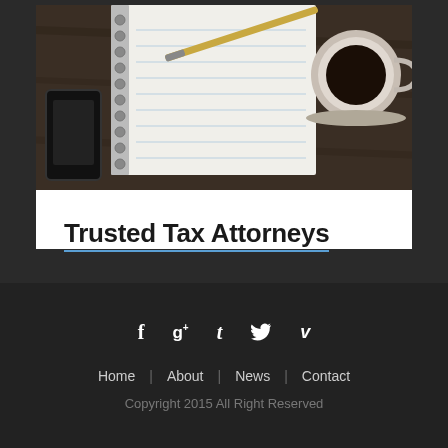[Figure (photo): Top portion of a desk scene showing a spiral notebook with lined pages, a pen, a smartphone, and a cup of coffee on a dark wooden surface]
Trusted Tax Attorneys
Tax Group Center   Contact Us >
[Figure (infographic): Social media icons row: Facebook (f), Google+ (g+), Tumblr (t), Twitter (bird), Vimeo (v)]
Home | About | News | Contact
Copyright 2015 All Right Reserved